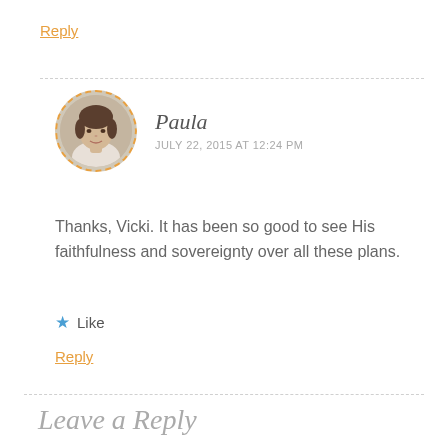Reply
[Figure (photo): Circular avatar photo of Paula with dashed orange border]
Paula
JULY 22, 2015 AT 12:24 PM
Thanks, Vicki. It has been so good to see His faithfulness and sovereignty over all these plans.
★ Like
Reply
Leave a Reply